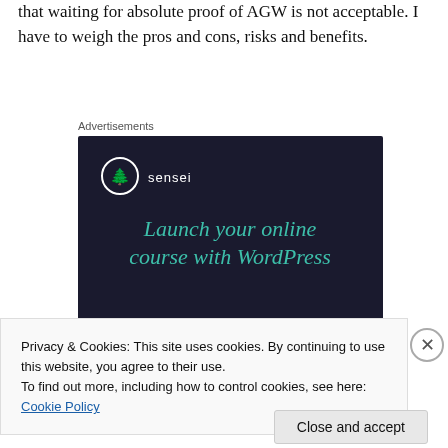that waiting for absolute proof of AGW is not acceptable. I have to weigh the pros and cons, risks and benefits.
Advertisements
[Figure (illustration): Sensei advertisement: dark navy background with Sensei logo (tree icon in white circle), tagline 'Launch your online course with WordPress' in teal italic text, and a teal 'Learn More' button.]
Privacy & Cookies: This site uses cookies. By continuing to use this website, you agree to their use.
To find out more, including how to control cookies, see here: Cookie Policy
Close and accept